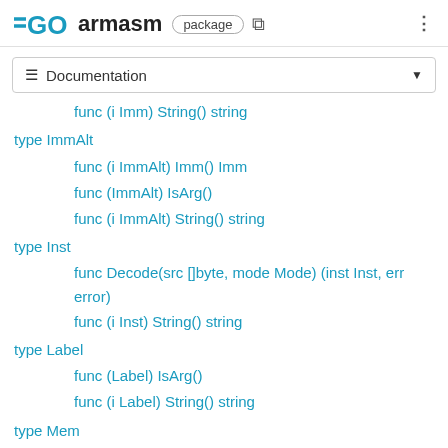GO armasm package
≡ Documentation
func (i Imm) String() string
type ImmAlt
func (i ImmAlt) Imm() Imm
func (ImmAlt) IsArg()
func (i ImmAlt) String() string
type Inst
func Decode(src []byte, mode Mode) (inst Inst, err error)
func (i Inst) String() string
type Label
func (Label) IsArg()
func (i Label) String() string
type Mem
func (Mem) IsArg()
func (m Mem) String() string